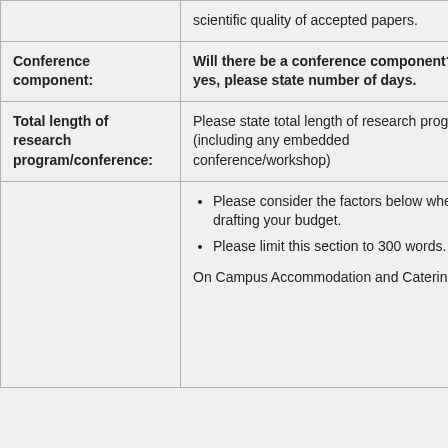|  | scientific quality of accepted papers. |
| Conference component: | Will there be a conference component? If yes, please state number of days. |
| Total length of research program/conference: | Please state total length of research program (including any embedded conference/workshop) |
|  | • Please consider the factors below when drafting your budget.
• Please limit this section to 300 words.

On Campus Accommodation and Catering |